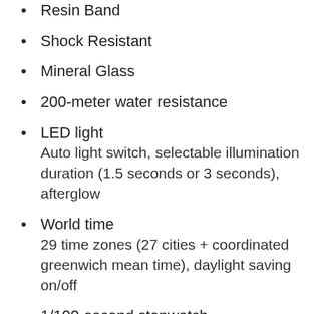Resin Band
Shock Resistant
Mineral Glass
200-meter water resistance
LED light
Auto light switch, selectable illumination duration (1.5 seconds or 3 seconds), afterglow
World time
29 time zones (27 cities + coordinated greenwich mean time), daylight saving on/off
1/100-second stopwatch
Measuring capacity: 59'59.99"
Measuring modes: Elapsed time, split